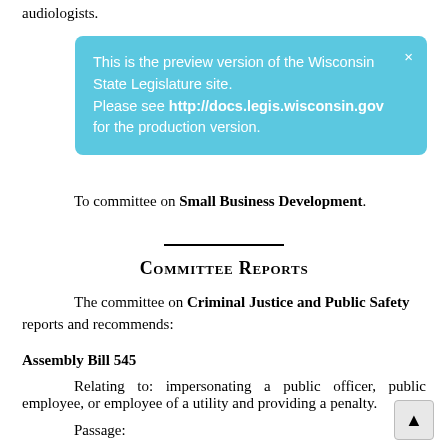audiologists.
[Figure (infographic): Preview banner: 'This is the preview version of the Wisconsin State Legislature site. Please see http://docs.legis.wisconsin.gov for the production version.' with a close X button, styled in light blue.]
To committee on Small Business Development.
—
Committee Reports
The committee on Criminal Justice and Public Safety reports and recommends:
Assembly Bill 545
Relating to: impersonating a public officer, public employee, or employee of a utility and providing a penalty.
Passage:
Ayes, 10 – Representatives ... (partially visible)